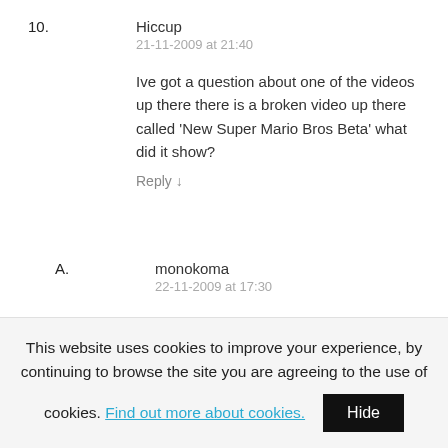10. Hiccup
21-11-2009 at 21:40
Ive got a question about one of the videos up there there is a broken video up there called 'New Super Mario Bros Beta' what did it show?
Reply ↓
A. monokoma
22-11-2009 at 17:30
Mmh i dont remember what there was in that video, i'll try to find it again in my personal archive, i should have saved it
This website uses cookies to improve your experience, by continuing to browse the site you are agreeing to the use of cookies. Find out more about cookies. Hide